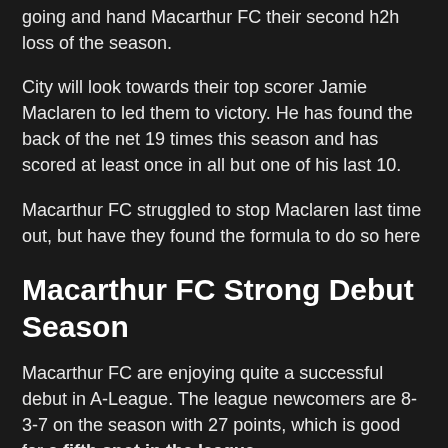going and hand Macarthur FC their second h2h loss of the season.
City will look towards their top scorer Jamie Maclaren to led them to victory. He has found the back of the net 19 times this season and has scored at least once in all but one of his last 10.
Macarthur FC struggled to stop Maclaren last time out, but have they found the formula to do so here
Macarthur FC Strong Debut Season
Macarthur FC are enjoying quite a successful debut in A-League. The league newcomers are 8-3-7 on the season with 27 points, which is good for a fifth spot in the league.
That said, they haven't been too impressive of late. The